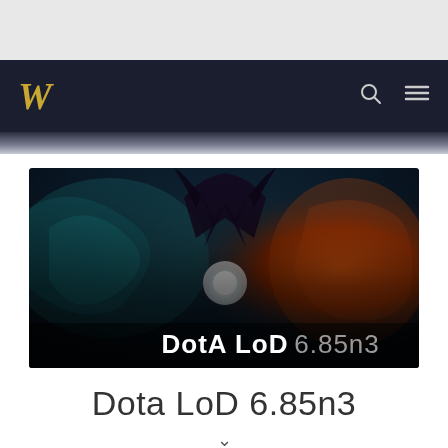[Figure (screenshot): Website navigation bar with a stylized 'W' logo in gold/bronze on dark navy background, with search icon and hamburger menu icon on the right.]
[Figure (illustration): DotA LoD 6.85n3 game banner showing dark fantasy characters with a glowing orb in the center, text 'DotA LoD 6.85n3' overlaid at the bottom in white and gray.]
Dota LoD 6.85n3